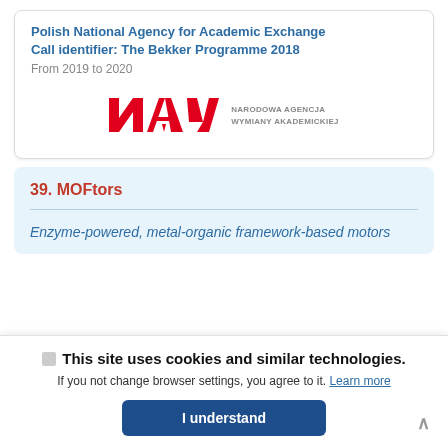Polish National Agency for Academic Exchange
Call identifier: The Bekker Programme 2018
From 2019 to 2020
[Figure (logo): NAWA logo — red stylized letters 'NAWA' with a downward arrow, next to grey text 'NARODOWA AGENCJA WYMIANY AKADEMICKIEJ']
39. MOFtors
Enzyme-powered, metal-organic framework-based motors
This site uses cookies and similar technologies. If you not change browser settings, you agree to it. Learn more
I understand